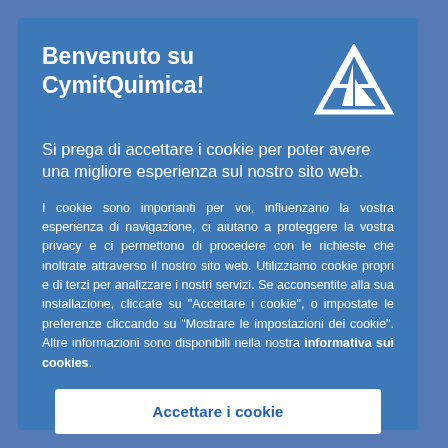Benvenuto su CymitQuimica!
[Figure (logo): CymitQuimica triangular sailboat logo in white outline on blue background]
Si prega di accettare i cookie per poter avere una migliore esperienza sul nostro sito web.
I cookie sono importanti per voi, influenzano la vostra esperienza di navigazione, ci aiutano a proteggere la vostra privacy e ci permettono di procedere con le richieste che inoltrate attraverso il nostro sito web. Utilizziamo cookie propri e di terzi per analizzare i nostri servizi. Se acconsentite alla sua installazione, cliccate su "Accettare i cookie", o impostate le preferenze cliccando su "Mostrare le impostazioni dei cookie". Altre informazioni sono disponibili nella nostra informativa sui cookies.
Accettare i cookie